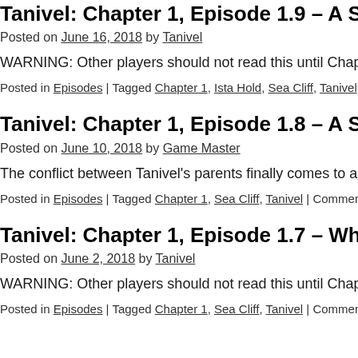Tanivel: Chapter 1, Episode 1.9 – A Ship W[ith...]
Posted on June 16, 2018 by Tanivel
WARNING: Other players should not read this until Chapter 1 i[s complete...]
Posted in Episodes | Tagged Chapter 1, Ista Hold, Sea Cliff, Tanivel | Comme[nts Off...]
Tanivel: Chapter 1, Episode 1.8 – A Ship W[ith...]
Posted on June 10, 2018 by Game Master
The conflict between Tanivel's parents finally comes to a head...
Posted in Episodes | Tagged Chapter 1, Sea Cliff, Tanivel | Comments Off
Tanivel: Chapter 1, Episode 1.7 – What W[ent...]
Posted on June 2, 2018 by Tanivel
WARNING: Other players should not read this until Chapter 1 i[s complete...]
Posted in Episodes | Tagged Chapter 1, Sea Cliff, Tanivel | Comments Off